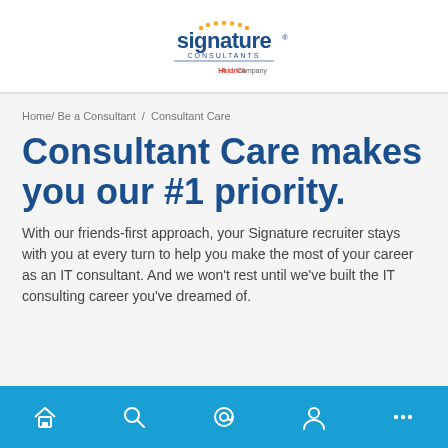[Figure (logo): Signature Consultants logo — blue 'signature' wordmark with orange dotted arc, subtitle 'CONSULTANTS', tagline 'A Heidrick Company']
Home/ Be a Consultant / Consultant Care
Consultant Care makes you our #1 priority.
With our friends-first approach, your Signature recruiter stays with you at every turn to help you make the most of your career as an IT consultant. And we won't rest until we've built the IT consulting career you've dreamed of.
Navigation bar with home, search, email, profile, and more icons